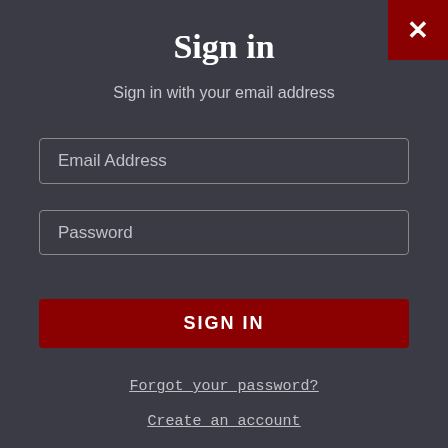Sign in
Sign in with your email address
Email Address
Password
SIGN IN
Forgot your password?
Create an account
×